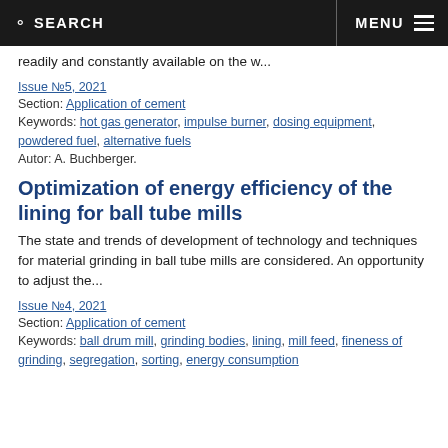SEARCH   MENU
readily and constantly available on the w...
Issue №5, 2021
Section: Application of cement
Keywords: hot gas generator, impulse burner, dosing equipment, powdered fuel, alternative fuels
Autor: A. Buchberger.
Optimization of energy efficiency of the lining for ball tube mills
The state and trends of development of technology and techniques for material grinding in ball tube mills are considered. An opportunity to adjust the...
Issue №4, 2021
Section: Application of cement
Keywords: ball drum mill, grinding bodies, lining, mill feed, fineness of grinding, segregation, sorting, energy consumption